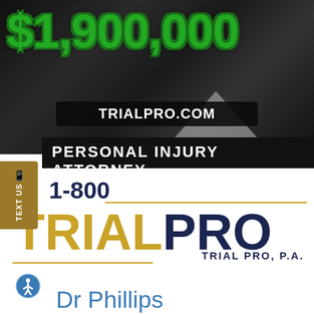[Figure (photo): Dark background showing crumpled/damaged car metal, used as advertisement background image]
$1,900,000
TRIALPRO.COM
PERSONAL INJURY ATTORNEY
TEXT US
1-800
TRIAL PRO
TRIAL PRO, P.A.
Dr Phillips